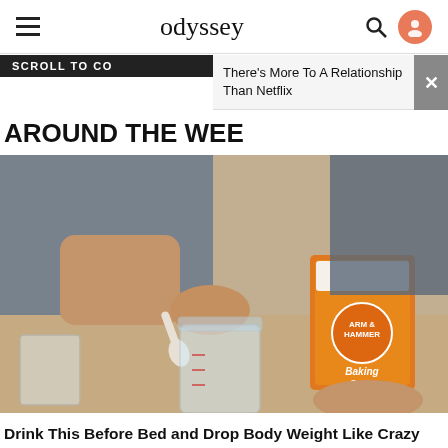odyssey
SCROLL TO CO
There's More To A Relationship Than Netflix
AROUND THE WEE
[Figure (photo): Person pouring Arm & Hammer Baking Soda with a spoon into a glass jar, with a measuring cup nearby]
Drink This Before Bed and Drop Body Weight Like Crazy